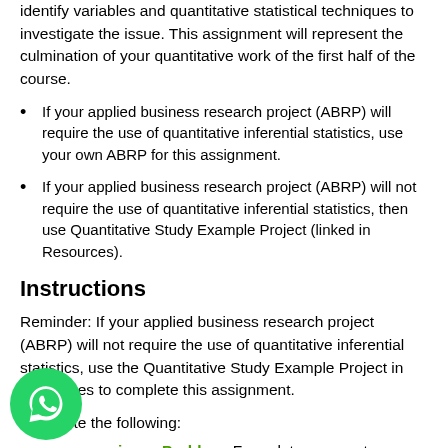identify variables and quantitative statistical techniques to investigate the issue. This assignment will represent the culmination of your quantitative work of the first half of the course.
If your applied business research project (ABRP) will require the use of quantitative inferential statistics, use your own ABRP for this assignment.
If your applied business research project (ABRP) will not require the use of quantitative inferential statistics, then use Quantitative Study Example Project (linked in Resources).
Instructions
Reminder: If your applied business research project (ABRP) will not require the use of quantitative inferential statistics, use the Quantitative Study Example Project in Resources to complete this assignment.
Complete the following:
Business Problem: Formulate a current business problem using examples and descriptions drawn from scholarly literature or a specific business organization.